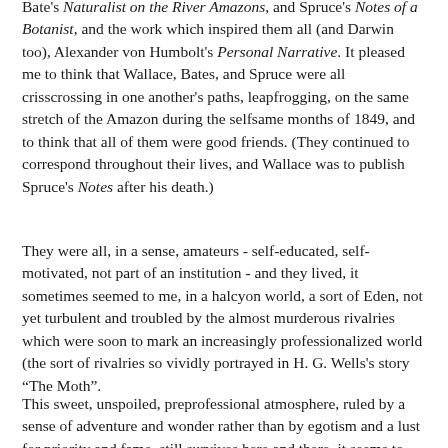Bate's Naturalist on the River Amazons, and Spruce's Notes of a Botanist, and the work which inspired them all (and Darwin too), Alexander von Humbolt's Personal Narrative. It pleased me to think that Wallace, Bates, and Spruce were all crisscrossing in one another's paths, leapfrogging, on the same stretch of the Amazon during the selfsame months of 1849, and to think that all of them were good friends. (They continued to correspond throughout their lives, and Wallace was to publish Spruce's Notes after his death.)
They were all, in a sense, amateurs - self-educated, self-motivated, not part of an institution - and they lived, it sometimes seemed to me, in a halcyon world, a sort of Eden, not yet turbulent and troubled by the almost murderous rivalries which were soon to mark an increasingly professionalized world (the sort of rivalries so vividly portrayed in H. G. Wells's story “The Moth”.
This sweet, unspoiled, preprofessional atmosphere, ruled by a sense of adventure and wonder rather than by egotism and a lust for priority and fame, still survives here and there, it seems to me, in certain natural history societies, and